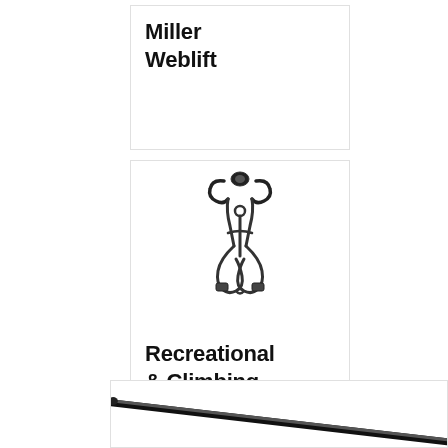Miller Weblift
[Figure (photo): Safety harness / climbing harness with shoulder and leg straps, shown flat against white background]
Recreational & Climbing Equipment
[Figure (photo): Partial view of a black rod or pole equipment piece, diagonal, partially cut off at bottom of page]